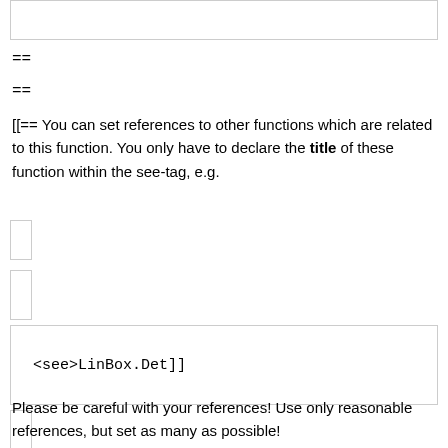[Figure (other): Empty bordered box at top of page]
==
==
[[== You can set references to other functions which are related to this function. You only have to declare the title of these function within the see-tag, e.g.
[Figure (other): Small bordered box]
[Figure (other): Small bordered box]
<see>LinBox.Det]]
[Figure (other): Small bordered box]
Please be careful with your references! Use only reasonable references, but set as many as possible!